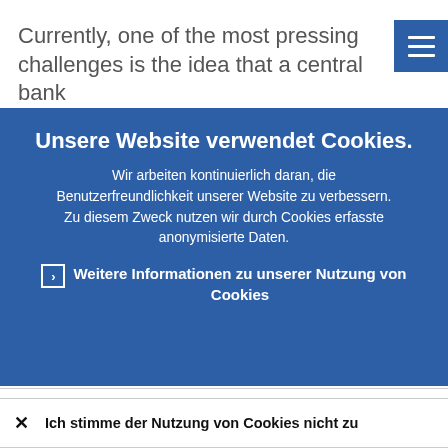Currently, one of the most pressing challenges is the idea that a central bank
Unsere Website verwendet Cookies.
Wir arbeiten kontinuierlich daran, die Benutzerfreundlichkeit unserer Website zu verbessern. Zu diesem Zweck nutzen wir durch Cookies erfasste anonymisierte Daten.
Weitere Informationen zu unserer Nutzung von Cookies
Ich verstehe und stimme der Nutzung von Cookies zu
Ich stimme der Nutzung von Cookies nicht zu